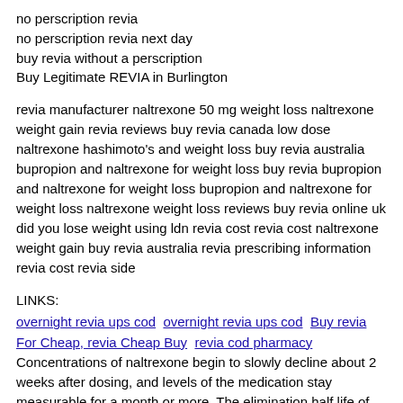no perscription revia
no perscription revia next day
buy revia without a perscription
Buy Legitimate REVIA in Burlington
revia manufacturer naltrexone 50 mg weight loss naltrexone weight gain revia reviews buy revia canada low dose naltrexone hashimoto's and weight loss buy revia australia bupropion and naltrexone for weight loss buy revia bupropion and naltrexone for weight loss bupropion and naltrexone for weight loss naltrexone weight loss reviews buy revia online uk did you lose weight using ldn revia cost revia cost naltrexone weight gain buy revia australia revia prescribing information revia cost revia side
LINKS:
overnight revia ups cod  overnight revia ups cod  Buy revia For Cheap, revia Cheap Buy  revia cod pharmacy
Concentrations of naltrexone begin to slowly decline about 2 weeks after dosing, and levels of the medication stay measurable for a month or more. The elimination half life of naltrexone from Vivivrol ranges between 5 to 10 days. Naltrexone can help keep you from feeling a “need” to use